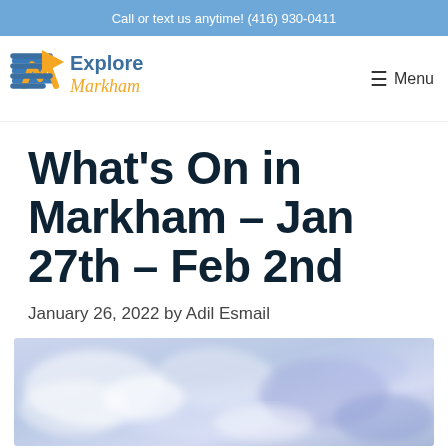Call or text us anytime! (416) 930-0411
[Figure (logo): Explore Markham logo with stylized EM icon in orange and blue, with 'Explore' in blue and 'Markham' in orange script]
Menu
What’s On in Markham – Jan 27th – Feb 2nd
January 26, 2022 by Adil Esmail
[Figure (photo): Abstract watercolour painting with blue, purple, and white flowing colours suggesting water or ice]